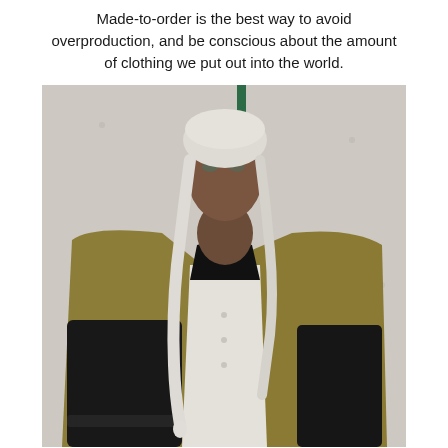Made-to-order is the best way to avoid overproduction, and be conscious about the amount of clothing we put out into the world.
[Figure (photo): A young Black woman with white braids and a white beanie hat, wearing an oversized olive and black color-block wool coat over a white shirt, posed against a light concrete wall.]